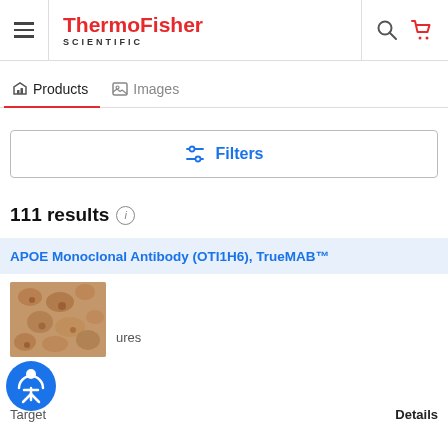ThermoFisher SCIENTIFIC
Products | Images
Filters
111 results
APOE Monoclonal Antibody (OTI1H6), TrueMAB™
[Figure (photo): Microscopy image of tissue stained with APOE antibody, showing brownish cellular staining pattern]
Figures
Details
Target